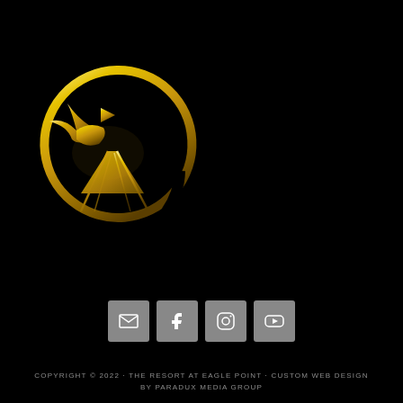[Figure (logo): Gold circular logo with an eagle silhouette, golf flag, and fairway perspective lines inside a circle ring, on black background]
[Figure (other): Row of four social media icon buttons (email/envelope, Facebook, Instagram, YouTube) with gray square backgrounds]
COPYRIGHT © 2022 · THE RESORT AT EAGLE POINT · CUSTOM WEB DESIGN BY PARADUX MEDIA GROUP